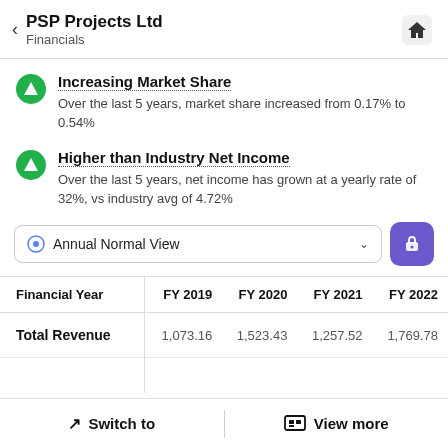PSP Projects Ltd — Financials
Increasing Market Share
Over the last 5 years, market share increased from 0.17% to 0.54%
Higher than Industry Net Income
Over the last 5 years, net income has grown at a yearly rate of 32%, vs industry avg of 4.72%
Annual Normal View
| Financial Year | FY 2019 | FY 2020 | FY 2021 | FY 2022 |
| --- | --- | --- | --- | --- |
| Total Revenue | 1,073.16 | 1,523.43 | 1,257.52 | 1,769.78 |
Switch to | View more